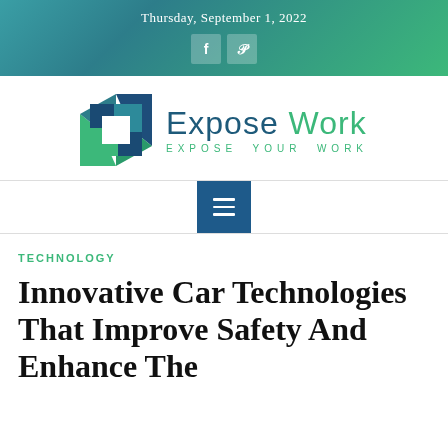Thursday, September 1, 2022
[Figure (logo): Expose Work logo with geometric square icon and text 'Expose Work — EXPOSE YOUR WORK']
[Figure (other): Navigation hamburger menu button (three horizontal lines on dark blue background)]
TECHNOLOGY
Innovative Car Technologies That Improve Safety And Enhance The